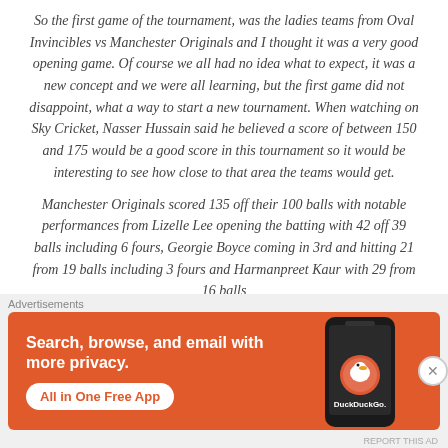So the first game of the tournament, was the ladies teams from Oval Invincibles vs Manchester Originals and I thought it was a very good opening game. Of course we all had no idea what to expect, it was a new concept and we were all learning, but the first game did not disappoint, what a way to start a new tournament. When watching on Sky Cricket, Nasser Hussain said he believed a score of between 150 and 175 would be a good score in this tournament so it would be interesting to see how close to that area the teams would get.
Manchester Originals scored 135 off their 100 balls with notable performances from Lizelle Lee opening the batting with 42 off 39 balls including 6 fours, Georgie Boyce coming in 3rd and hitting 21 from 19 balls including 3 fours and Harmanpreet Kaur with 29 from 16 balls including 3 fours. Overall a entertaining and spectacular display...
[Figure (other): DuckDuckGo advertisement banner: orange background with text 'Search, browse, and email with more privacy. All in One Free App' and a phone mockup showing DuckDuckGo logo]